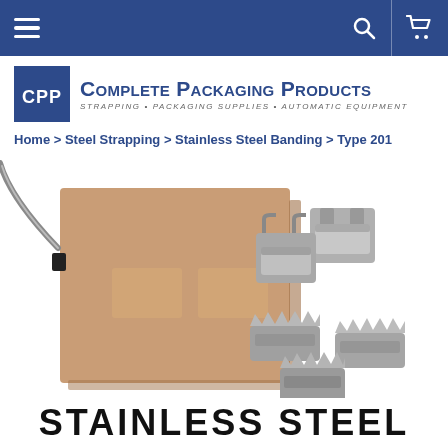Navigation bar with hamburger menu, search, and cart icons
[Figure (logo): Complete Packaging Products logo with CPP initials in blue box and company name with tagline: STRAPPING • PACKAGING SUPPLIES • AUTOMATIC EQUIPMENT]
Home > Steel Strapping > Stainless Steel Banding > Type 201
[Figure (photo): Product photo showing a cardboard coil/spool of stainless steel banding strap on the left, and multiple stainless steel clip seals/buckles on the right]
STAINLESS STEEL